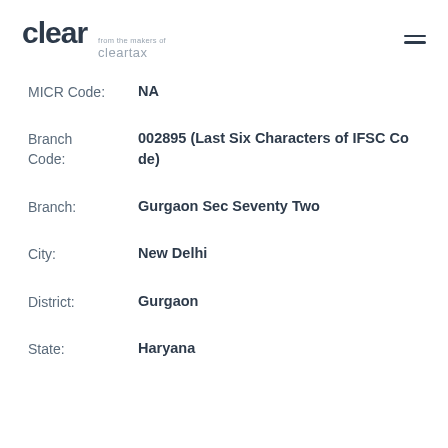clear from the makers of cleartax
MICR Code: NA
Branch Code: 002895 (Last Six Characters of IFSC Code)
Branch: Gurgaon Sec Seventy Two
City: New Delhi
District: Gurgaon
State: Haryana